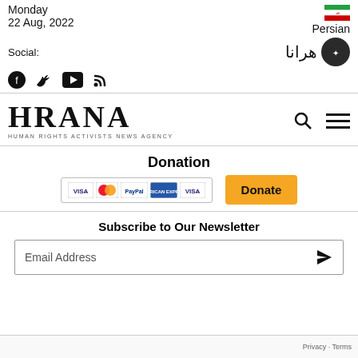Monday
22 Aug, 2022
Social:
Persian
[Figure (logo): HRANA – Human Rights Activists News Agency logo with text]
Donation
[Figure (infographic): Payment method logos: VISA, MasterCard, PayPal, American Express, VISA]
Subscribe to Our Newsletter
Email Address
Privacy · Terms